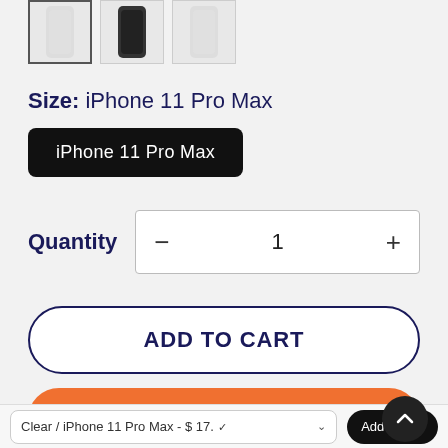[Figure (photo): Three product thumbnail images of phone cases: first (selected) is a clear/white case, second is a dark/black case, third is a light/clear case]
Size: iPhone 11 Pro Max
iPhone 11 Pro Max
Quantity  −  1  +
ADD TO CART
BUY IT NOW
Clear / iPhone 11 Pro Max - $ 17.  Add to cart